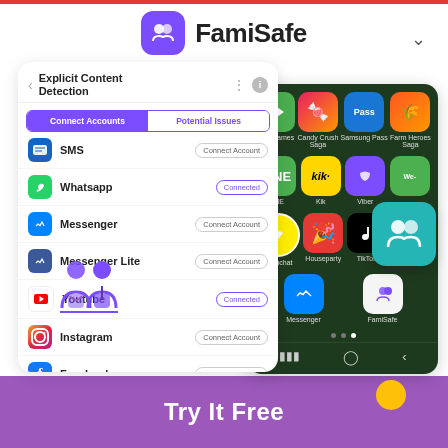[Figure (screenshot): FamiSafe app logo and brand name in header with chevron dropdown]
[Figure (screenshot): Left phone screenshot showing FamiSafe Explicit Content Detection screen with Connect Accounts tab active, listing SMS, Whatsapp, Messenger, Messenger Lite, Youtube (Connected), Instagram, Facebook, Twitter with Connect Account buttons. Right phone screenshot showing Android home screen with app icons: Play Games, Candy Crush Saga, Samsung Pass, Farm Heroes Saga, LINE, Kik, Viber, We-, Snapchat, Houseparty, TikTok, Instagram, Messenger, FamiSafe. FamiSafe teal badge overlay on right. Purple people icon overlay on left phone.]
Try It Free